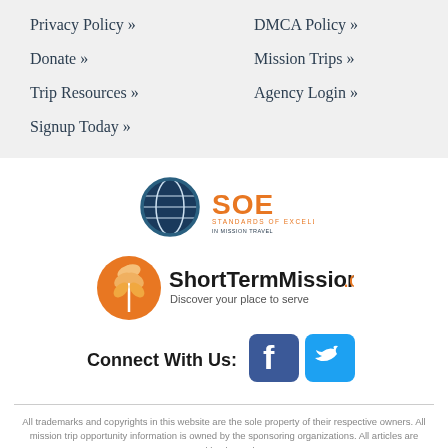Privacy Policy »
DMCA Policy »
Donate »
Mission Trips »
Trip Resources »
Agency Login »
Signup Today »
[Figure (logo): SOE Standards of Excellence logo with globe icon]
[Figure (logo): ShortTermMissions.com logo with wheat/globe icon and tagline 'Discover your place to serve']
Connect With Us:
[Figure (logo): Facebook and Twitter social media icons]
All trademarks and copyrights in this website are the sole property of their respective owners. All mission trip opportunity information is owned by the sponsoring organizations. All articles are owned by the Author.